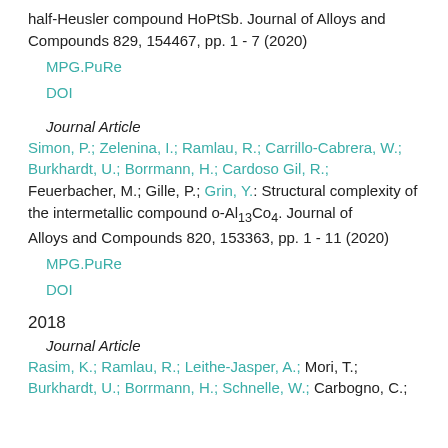half-Heusler compound HoPtSb. Journal of Alloys and Compounds 829, 154467, pp. 1 - 7 (2020)
MPG.PuRe
DOI
Journal Article
Simon, P.; Zelenina, I.; Ramlau, R.; Carrillo-Cabrera, W.; Burkhardt, U.; Borrmann, H.; Cardoso Gil, R.; Feuerbacher, M.; Gille, P.; Grin, Y.: Structural complexity of the intermetallic compound o-Al13Co4. Journal of Alloys and Compounds 820, 153363, pp. 1 - 11 (2020)
MPG.PuRe
DOI
2018
Journal Article
Rasim, K.; Ramlau, R.; Leithe-Jasper, A.; Mori, T.; Burkhardt, U.; Borrmann, H.; Schnelle, W.; Carbogno, C.;